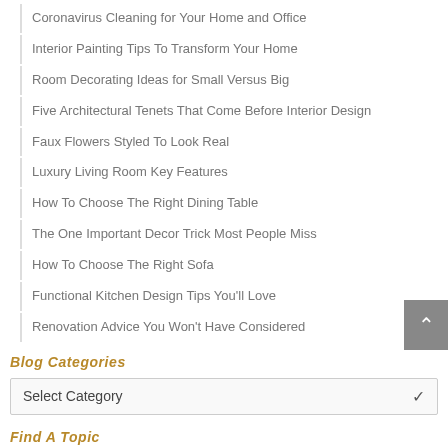Coronavirus Cleaning for Your Home and Office
Interior Painting Tips To Transform Your Home
Room Decorating Ideas for Small Versus Big
Five Architectural Tenets That Come Before Interior Design
Faux Flowers Styled To Look Real
Luxury Living Room Key Features
How To Choose The Right Dining Table
The One Important Decor Trick Most People Miss
How To Choose The Right Sofa
Functional Kitchen Design Tips You'll Love
Renovation Advice You Won't Have Considered
Blog Categories
Select Category
Find A Topic
Search